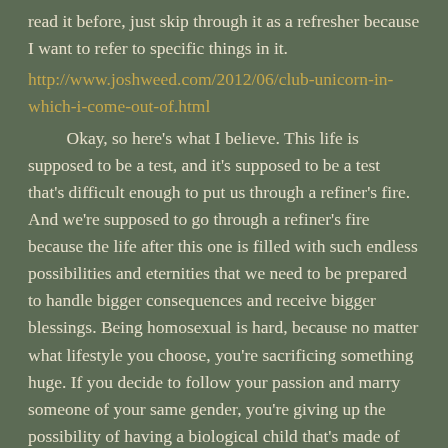read it before, just skip through it as a refresher because I want to refer to specific things in it.
http://www.joshweed.com/2012/06/club-unicorn-in-which-i-come-out-of.html
	Okay, so here's what I believe. This life is supposed to be a test, and it's supposed to be a test that's difficult enough to put us through a refiner's fire. And we're supposed to go through a refiner's fire because the life after this one is filled with such endless possibilities and eternities that we need to be prepared to handle bigger consequences and receive bigger blessings. Being homosexual is hard, because no matter what lifestyle you choose, you're sacrificing something huge. If you decide to follow your passion and marry someone of your same gender, you're giving up the possibility of having a biological child that's made of both of